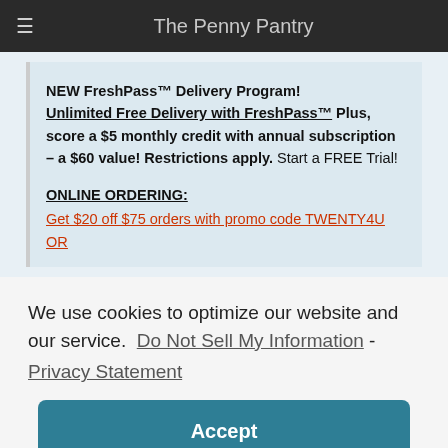The Penny Pantry
NEW FreshPass™ Delivery Program! Unlimited Free Delivery with FreshPass™ Plus, score a $5 monthly credit with annual subscription – a $60 value! Restrictions apply. Start a FREE Trial!

ONLINE ORDERING:
Get $20 off $75 orders with promo code TWENTY4U OR
We use cookies to optimize our website and our service. Do Not Sell My Information - Privacy Statement
Accept